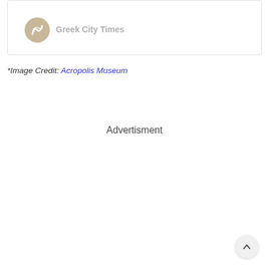[Figure (logo): Greek City Times logo with circular icon and grey text]
*Image Credit: Acropolis Museum
Advertisment